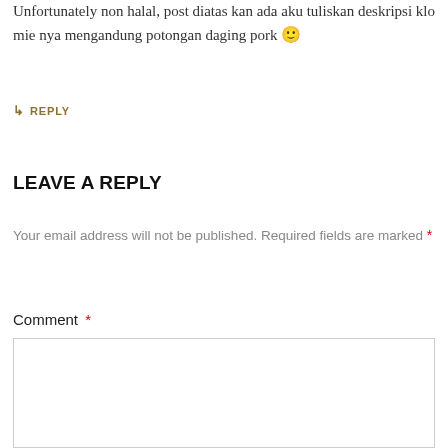Unfortunately non halal, post diatas kan ada aku tuliskan deskripsi klo mie nya mengandung potongan daging pork 🙂
↳ REPLY
LEAVE A REPLY
Your email address will not be published. Required fields are marked *
Comment *